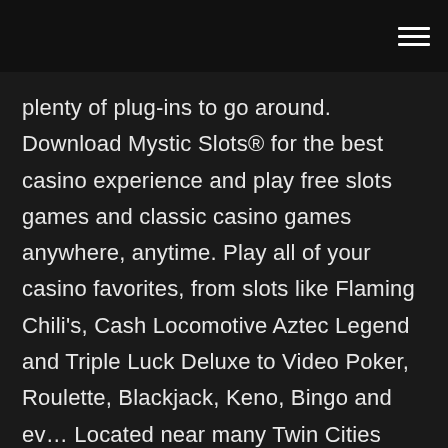plenty of plug-ins to go around. Download Mystic Slots® for the best casino experience and play free slots games and classic casino games anywhere, anytime. Play all of your casino favorites, from slots like Flaming Chili's, Cash Locomotive Aztec Legend and Triple Luck Deluxe to Video Poker, Roulette, Blackjack, Keno, Bingo and ev… Located near many Twin Cities area family fun spots, including Valley Fair, Cleary Lake Regional Park, the Mall of America, and US Bank Stadium. Whether your perfect vacation is a back-to-nature getaway, or 24-hour, non-stop casino excitement, make it Dakotah Meadows. This map was created by a user. Learn how to create your own. Shakopee Mdewakanton Sioux Community. 2330 Sioux Trail NW Prior Lake, MN 55372 952 445 8900 Contact a Department >